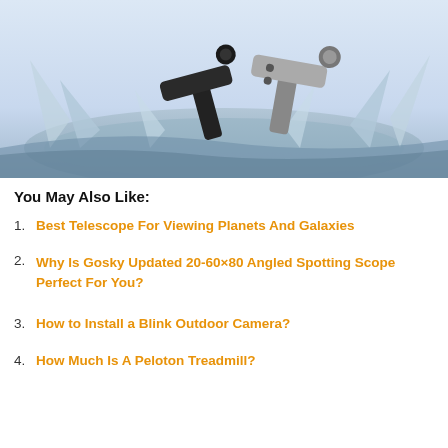[Figure (photo): Two massage guns (one black, one silver) emerging from splashing water against a light blue background]
You May Also Like:
1. Best Telescope For Viewing Planets And Galaxies
2. Why Is Gosky Updated 20-60×80 Angled Spotting Scope Perfect For You?
3. How to Install a Blink Outdoor Camera?
4. How Much Is A Peloton Treadmill?